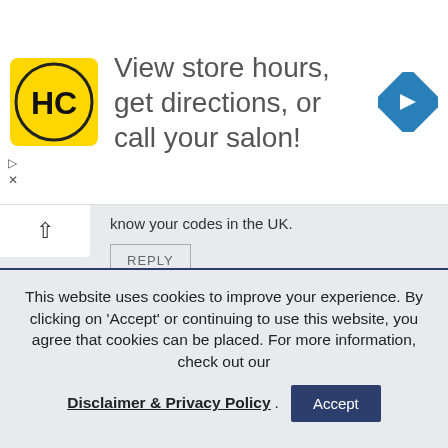[Figure (infographic): Advertisement banner for HC (Hair Club?) salon with yellow logo featuring HC letters in a circle, text 'View store hours, get directions, or call your salon!' and a blue diamond navigation arrow icon.]
know your codes in the UK.
REPLY
PETER CLARK
Hi Todd, we are in the Philippines where timber is more expensive than steel and termites abound! There are building codes here but no one
This website uses cookies to improve your experience. By clicking on 'Accept' or continuing to use this website, you agree that cookies can be placed. For more information, check out our
Disclaimer & Privacy Policy.
Accept